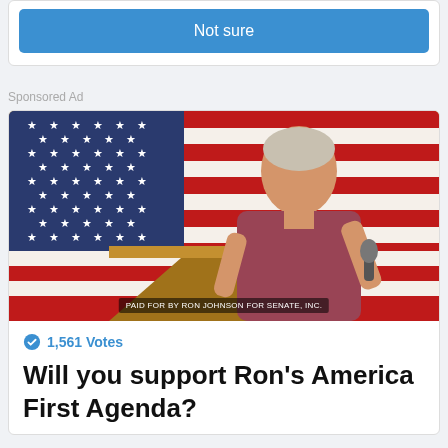Not sure
Sponsored Ad
[Figure (photo): A man in a dark red shirt speaking at a podium with a microphone, standing in front of a large American flag. Text overlay at bottom reads: PAID FOR BY RON JOHNSON FOR SENATE, INC.]
1,561 Votes
Will you support Ron's America First Agenda?